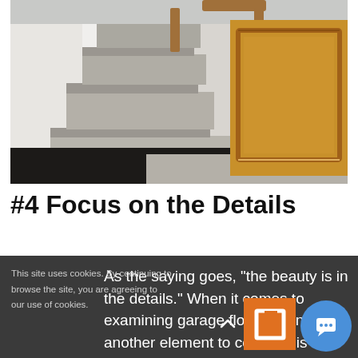[Figure (photo): Interior photo showing carpeted stairs with dark wood flooring, wooden paneled wall/wainscoting on the right, and a doorway in the background. The carpet is a speckled gray/beige, and the hardwood floor is dark brown/black.]
#4 Focus on the Details
As the saying goes, “the beauty is in the details.” When it comes to examining garage floor options, another element to consider is how
This site uses cookies. By continuing to browse the site, you are agreeing to our use of cookies.